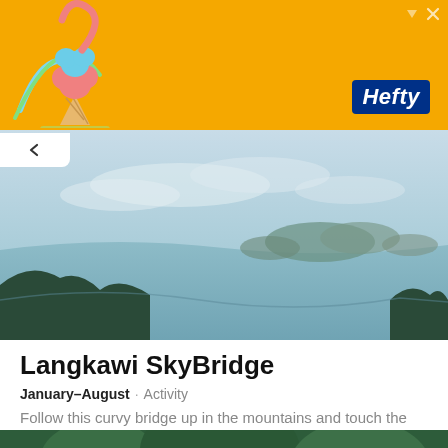[Figure (screenshot): Orange advertisement banner for Hefty brand with ice cream cone decoration and playful illustration]
[Figure (photo): Aerial photograph of Langkawi showing tropical coastline, islands, and misty sea from mountain viewpoint]
Langkawi SkyBridge
January–August · Activity
Follow this curvy bridge up in the mountains and touch the Malay sky
[Figure (photo): Photo of dense tropical rainforest with bridge cables visible, with orange 'Check prices Jun 05 – Jun 14' button overlay]